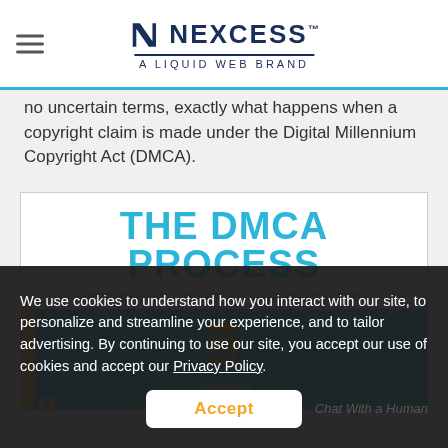NEXCESS™ A LIQUID WEB BRAND
no uncertain terms, exactly what happens when a copyright claim is made under the Digital Millennium Copyright Act (DMCA).
[Figure (infographic): Infographic titled 'THE DMCA PROCESS — How Copyright Complaints are Handled on the Web'. Shows an Authorized DMCA Agent figure on a cyan background with dotted process line and a left sidebar with yellow bar and rotated text about copyright holder/content owner.]
We use cookies to understand how you interact with our site, to personalize and streamline your experience, and to tailor advertising. By continuing to use our site, you accept our use of cookies and accept our Privacy Policy.
Accept